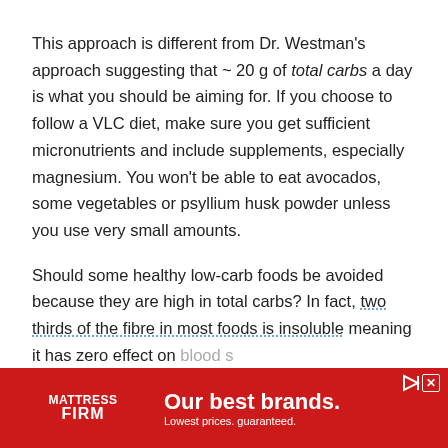This approach is different from Dr. Westman's approach suggesting that ~ 20 g of total carbs a day is what you should be aiming for. If you choose to follow a VLC diet, make sure you get sufficient micronutrients and include supplements, especially magnesium. You won't be able to eat avocados, some vegetables or psyllium husk powder unless you use very small amounts.
Should some healthy low-carb foods be avoided because they are high in total carbs? In fact, two thirds of the fibre in most foods is insoluble meaning it has zero effect on blood s... although...
[Figure (other): Advertisement banner for Mattress Firm with red background. Shows 'MATTRESS FIRM' logo on left, headline 'Our best brands.' and subtext 'Lowest prices. guaranteed.' Controls include a play/forward button and close/X button in top right.]